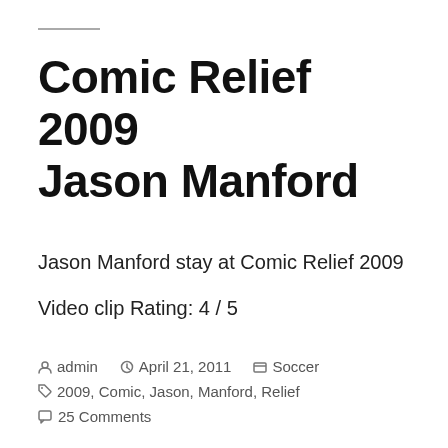Comic Relief 2009 Jason Manford
Jason Manford stay at Comic Relief 2009
Video clip Rating: 4 / 5
admin  April 21, 2011  Soccer  2009, Comic, Jason, Manford, Relief  25 Comments